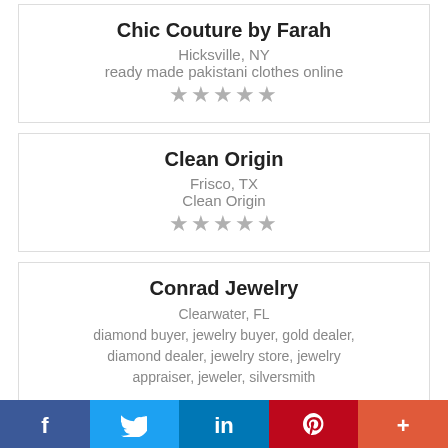Chic Couture by Farah
Hicksville, NY
ready made pakistani clothes online
[Figure (other): 5 grey star rating icons]
Clean Origin
Frisco, TX
Clean Origin
[Figure (other): 5 grey star rating icons]
Conrad Jewelry
Clearwater, FL
diamond buyer, jewelry buyer, gold dealer, diamond dealer, jewelry store, jewelry appraiser, jeweler, silversmith
[Figure (other): 5 grey star rating icons partially visible]
[Figure (other): Social sharing bar: Facebook, Twitter, LinkedIn, Pinterest, More]